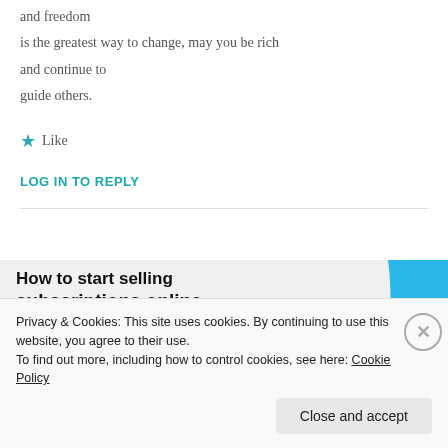and freedom
is the greatest way to change, may you be rich
and continue to
guide others.
★ Like
LOG IN TO REPLY
[Figure (screenshot): Advertisement banner showing 'How to start selling subscriptions online' with a blue shape graphic and purple button]
Privacy & Cookies: This site uses cookies. By continuing to use this website, you agree to their use.
To find out more, including how to control cookies, see here: Cookie Policy
Close and accept